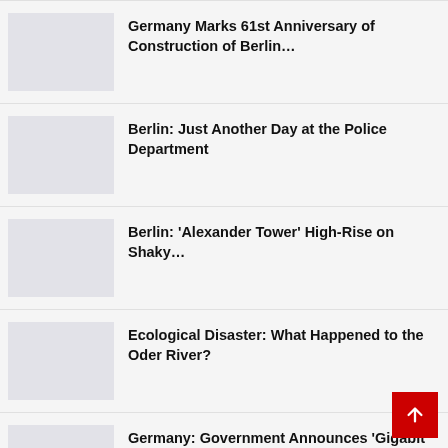Germany Marks 61st Anniversary of Construction of Berlin…
Berlin: Just Another Day at the Police Department
Berlin: 'Alexander Tower' High-Rise on Shaky…
Ecological Disaster: What Happened to the Oder River?
Germany: Government Announces 'Gigabit Strategy'…